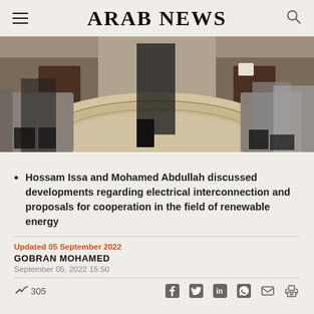ARAB NEWS
[Figure (photo): A meeting room scene showing people seated on sofas around a decorative rug, with wooden furniture visible in the background.]
Hossam Issa and Mohamed Abdullah discussed developments regarding electrical interconnection and proposals for cooperation in the field of renewable energy
Updated 05 September 2022
GOBRAN MOHAMED
September 05, 2022 15:50
305